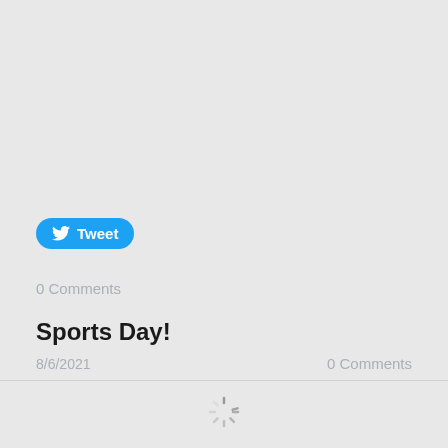[Figure (other): Tweet button with Twitter bird icon and label 'Tweet' on a blue rounded pill background]
0 Comments
Sports Day!
8/6/2021  0 Comments
[Figure (other): Loading spinner icon at the bottom center of the page]